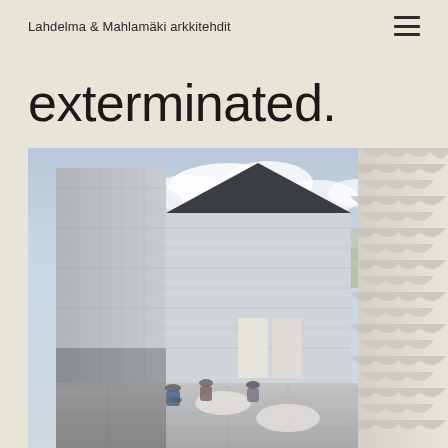Lahdelma & Mahlamäki arkkitehdit
exterminated.
[Figure (photo): Architectural rendering of a modern building courtyard with white/grey tiled facades, people sitting at outdoor furniture, and a distinctive scalloped tile surface on the right side. The scene shows a rooftop terrace with views to a green landscape under a partly cloudy sky.]